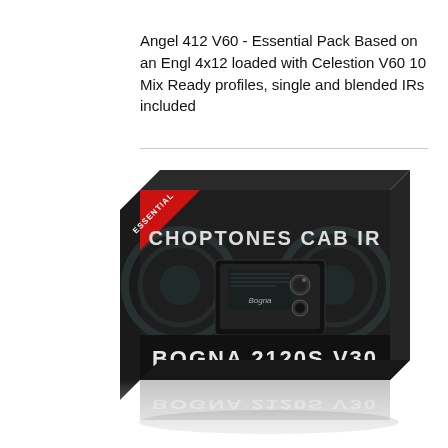Angel 412 V60 - Essential Pack Based on an Engl 4x12 loaded with Celestion V60 10 Mix Ready profiles, single and blended IRs included
[Figure (illustration): Product box image for Choptones Cab IR - Bogna 2120S V30, showing a dark box with 'ESSENTIAL' ribbon badge, guitar cabinet speakers in background, and a small amplifier image. Box label reads 'CHOPTONES CAB IR' and 'BOGNA 2120S V30' with a reflection below.]